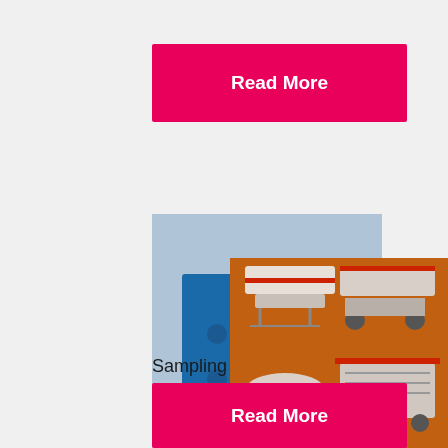[Figure (other): Pink/magenta 'Read More' button at top]
[Figure (photo): Photo of a large blue jaw crusher machine with a black flywheel, LIMING watermark visible]
Sampling and Testing in Coal Quality Management
crusher. Since most mechanical sampling
[Figure (photo): Orange sidebar advertisement showing mining/crushing equipment machines, 'Enjoy 3% discount', 'Click to Chat', 'Enquiry', 'limingjlmofen@sina.com']
[Figure (other): Pink/magenta 'Read More' button at bottom]